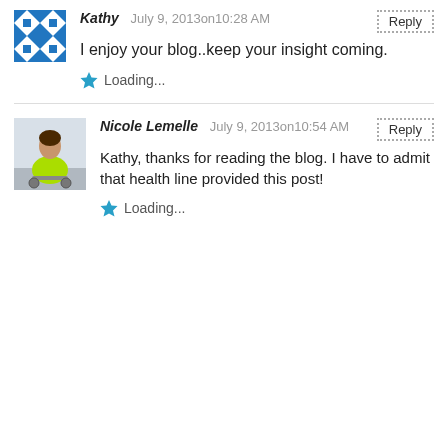Kathy  July 9, 2013on10:28 AM  Reply
I enjoy your blog..keep your insight coming.
Loading...
Nicole Lemelle  July 9, 2013on10:54 AM  Reply
Kathy, thanks for reading the blog. I have to admit that health line provided this post!
Loading...